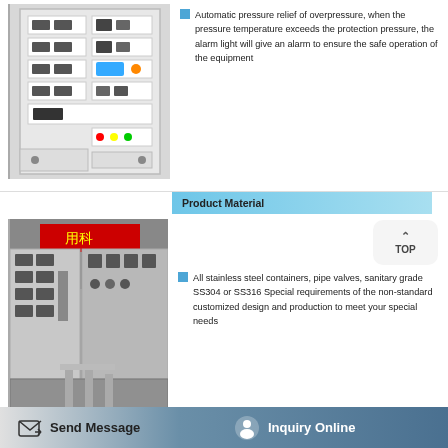[Figure (photo): Industrial control panel with multiple switches, digital displays, and buttons mounted in a white cabinet]
Automatic pressure relief of overpressure, when the pressure temperature exceeds the protection pressure, the alarm light will give an alarm to ensure the safe operation of the equipment
Product Material
[Figure (photo): Industrial stainless steel equipment and workbench in a factory setting with a red Chinese banner in the background]
[Figure (other): TOP navigation button with upward arrow]
All stainless steel containers, pipe valves, sanitary grade SS304 or SS316 Special requirements of the non-standard customized design and production to meet your special needs
Send Message    Inquiry Online